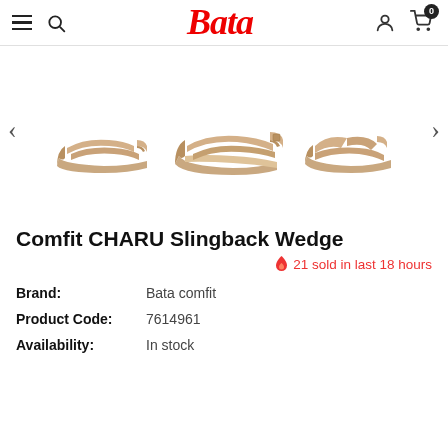Bata
[Figure (photo): Three views of a beige/tan Comfit CHARU Slingback Wedge sandal shown from left side, front-left angle, and right side. Navigation arrows on left and right.]
Comfit CHARU Slingback Wedge
🔥 21 sold in last 18 hours
Brand: Bata comfit
Product Code: 7614961
Availability: In stock